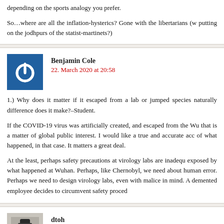depending on the sports analogy you prefer.

So…where are all the inflation-hysterics? Gone with the libertarians (w putting on the jodhpurs of the statist-martinets?)
Benjamin Cole
22. March 2020 at 20:58
1.) Why does it matter if it escaped from a lab or jumped species naturally difference does it make?–Student.

If the COVID-19 virus was artificially created, and escaped from the Wu that is a matter of global public interest. I would like a true and accurate acc of what happened, in that case. It matters a great deal.

At the least, perhaps safety precautions at virology labs are inadequ exposed by what happened at Wuhan. Perhaps, like Chernobyl, we need about human error. Perhaps we need to design virology labs, even with malice in mind. A demented employee decides to circumvent safety proced
dtoh
22. March 2020 at 21:16